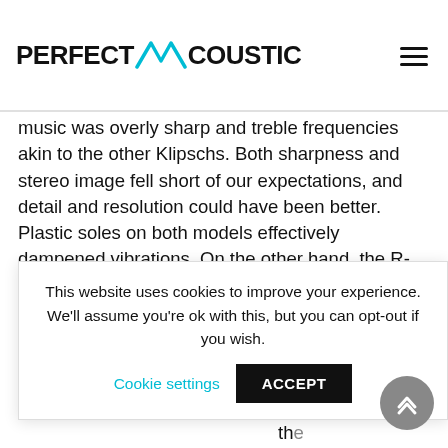PERFECT ACOUSTIC
music was overly sharp and treble frequencies akin to the other Klipschs. Both sharpness and stereo image fell short of our expectations, and detail and resolution could have been better. Plastic soles on both models effectively dampened vibrations. On the other hand, the R-820F weighs much more than the R-620F, 24.5 kg, which makes it difficult to move it around. It has a sensitivity of 97 decibels, a rated power of 15 watts, which is 50 watts more
music power ore than its icant either design or we would rather eight of the 820F.
This website uses cookies to improve your experience. We'll assume you're ok with this, but you can opt-out if you wish.
Cookie settings   ACCEPT
820F.